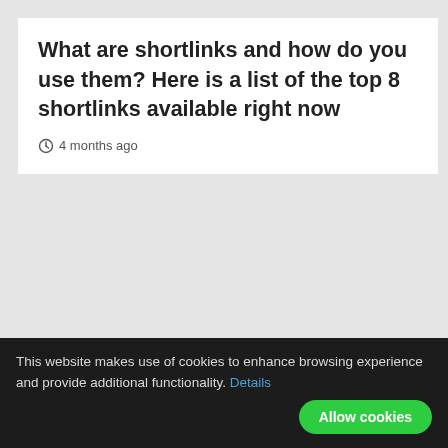What are shortlinks and how do you use them? Here is a list of the top 8 shortlinks available right now
4 months ago
Leave a Reply
Your email address will not be published. Required fields are marked *
This website makes use of cookies to enhance browsing experience and provide additional functionality. Details